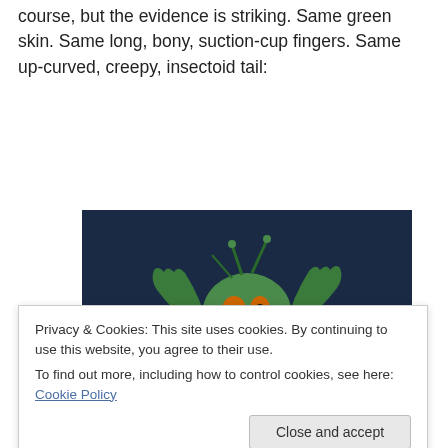course, but the evidence is striking. Same green skin. Same long, bony, suction-cup fingers. Same up-curved, creepy, insectoid tail:
[Figure (photo): A green alien/creature character with large eyes, green clawed hands raised, wearing colorful clothing, set against a dark blue sky background.]
Privacy & Cookies: This site uses cookies. By continuing to use this website, you agree to their use.
To find out more, including how to control cookies, see here: Cookie Policy